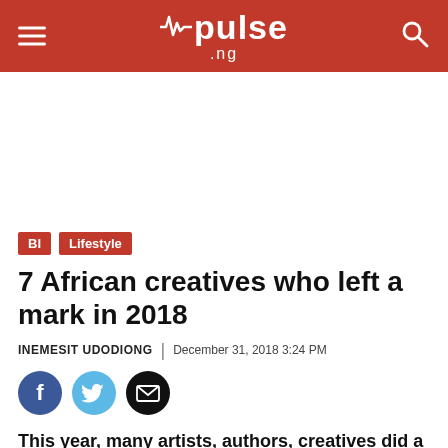pulse .ng
[Figure (other): White advertisement/banner space below the header navigation]
BI  Lifestyle
7 African creatives who left a mark in 2018
INEMESIT UDODIONG | December 31, 2018 3:24 PM
[Figure (other): Social media share icons: Facebook (blue circle), Twitter (light blue circle), Email (black circle with envelope)]
This year, many artists, authors, creatives did a